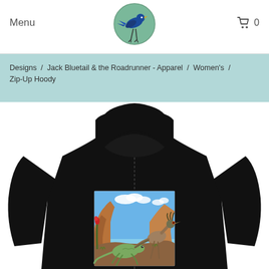Menu | [Logo] | Cart 0
Designs / Jack Bluetail & the Roadrunner - Apparel / Women's / Zip-Up Hoody
[Figure (photo): Black women's zip-up hoody shown from the back, featuring an artistic illustration of a lizard and roadrunner bird in a desert canyon landscape with blue sky and clouds on the back panel.]